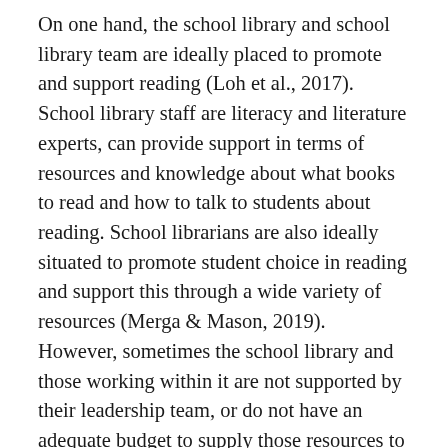On one hand, the school library and school library team are ideally placed to promote and support reading (Loh et al., 2017). School library staff are literacy and literature experts, can provide support in terms of resources and knowledge about what books to read and how to talk to students about reading. School librarians are also ideally situated to promote student choice in reading and support this through a wide variety of resources (Merga & Mason, 2019). However, sometimes the school library and those working within it are not supported by their leadership team, or do not have an adequate budget to supply those resources to support choice. Further, if leadership at the school does not support or wish to prioritise a culture of reading at the school, it can feel like the school librarian has no place to disagree or spends much energy championing a cause that is ignored or actively disagreed with. So often, the school has other priorities, a new pedagogical approach, a drive